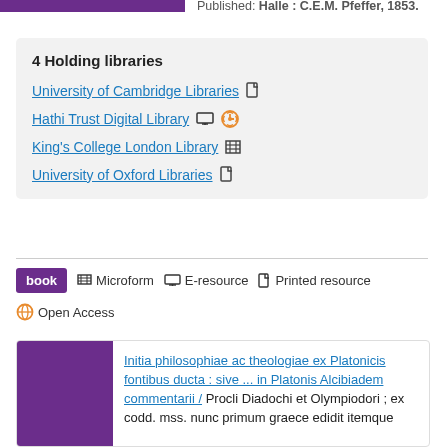Published: Halle : C.E.M. Pfeffer, 1853.
4 Holding libraries
University of Cambridge Libraries
Hathi Trust Digital Library
King's College London Library
University of Oxford Libraries
book  Microform  E-resource  Printed resource  Open Access
Initia philosophiae ac theologiae ex Platonicis fontibus ducta : sive ... in Platonis Alcibiadem commentarii / Procli Diadochi et Olympiodori ; ex codd. mss. nunc primum graece edidit itemque